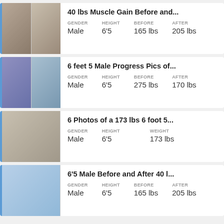[Figure (photo): Before and after photos of male, 40 lbs muscle gain]
40 lbs Muscle Gain Before and...
| GENDER | HEIGHT | BEFORE | AFTER |
| --- | --- | --- | --- |
| Male | 6'5 | 165 lbs | 205 lbs |
[Figure (photo): Before and after photos of male, 6 feet 5, progress pics]
6 feet 5 Male Progress Pics of...
| GENDER | HEIGHT | BEFORE | AFTER |
| --- | --- | --- | --- |
| Male | 6'5 | 275 lbs | 170 lbs |
[Figure (photo): Single photo of male, 173 lbs, 6 foot 5]
6 Photos of a 173 lbs 6 foot 5...
| GENDER | HEIGHT | WEIGHT |
| --- | --- | --- |
| Male | 6'5 | 173 lbs |
[Figure (photo): Before and after photo of male, 6'5, 40 lbs change]
6'5 Male Before and After 40 l...
| GENDER | HEIGHT | BEFORE | AFTER |
| --- | --- | --- | --- |
| Male | 6'5 | 165 lbs | 205 lbs |